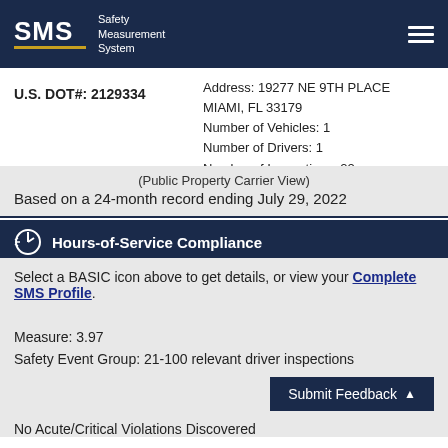SMS Safety Measurement System
U.S. DOT#: 2129334
Address: 19277 NE 9TH PLACE
MIAMI, FL 33179
Number of Vehicles: 1
Number of Drivers: 1
Number of Inspections: 22
(Public Property Carrier View)
Based on a 24-month record ending July 29, 2022
Hours-of-Service Compliance
Select a BASIC icon above to get details, or view your Complete SMS Profile.
Measure: 3.97
Safety Event Group: 21-100 relevant driver inspections
No Acute/Critical Violations Discovered